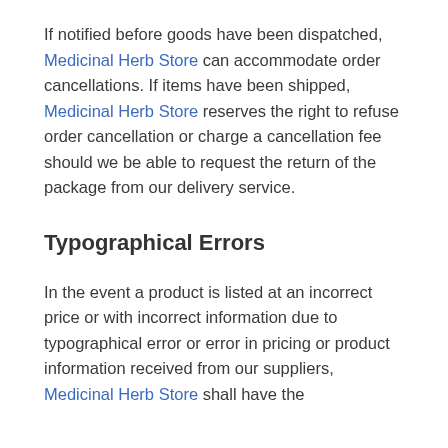If notified before goods have been dispatched, Medicinal Herb Store can accommodate order cancellations. If items have been shipped, Medicinal Herb Store reserves the right to refuse order cancellation or charge a cancellation fee should we be able to request the return of the package from our delivery service.
Typographical Errors
In the event a product is listed at an incorrect price or with incorrect information due to typographical error or error in pricing or product information received from our suppliers, Medicinal Herb Store shall have the